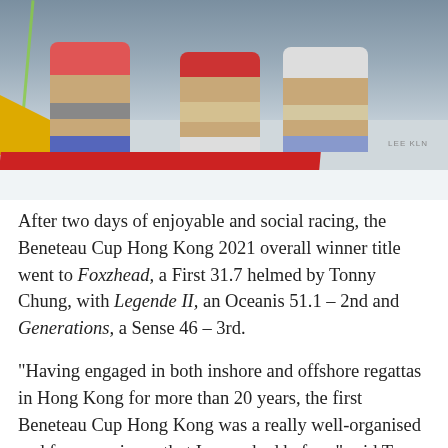[Figure (photo): Photo of people (sailors) sitting on the side of a racing sailboat with red and yellow hull markings. Text 'LEE KLN' visible on the boat.]
After two days of enjoyable and social racing, the Beneteau Cup Hong Kong 2021 overall winner title went to Foxzhead, a First 31.7 helmed by Tonny Chung, with Legende II, an Oceanis 51.1 – 2nd and Generations, a Sense 46 – 3rd.
“Having engaged in both inshore and offshore regattas in Hong Kong for more than 20 years, the first Beneteau Cup Hong Kong was a really well-organised and fun experience that I never had before,” said Tonny Chung, owner of the overall